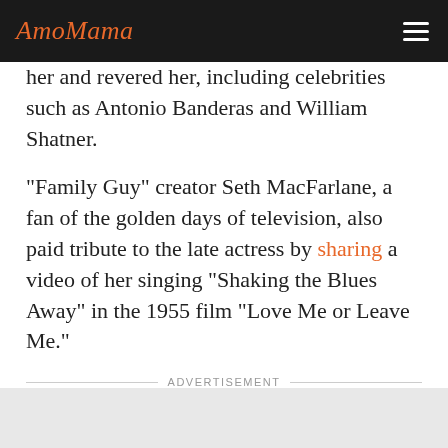AmoMama
her and revered her, including celebrities such as Antonio Banderas and William Shatner.
"Family Guy" creator Seth MacFarlane, a fan of the golden days of television, also paid tribute to the late actress by sharing a video of her singing "Shaking the Blues Away" in the 1955 film "Love Me or Leave Me."
ADVERTISEMENT